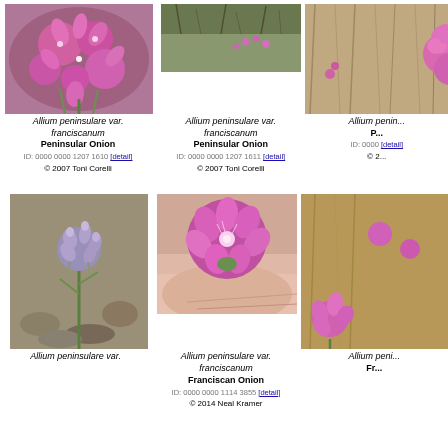[Figure (photo): Close-up of Allium peninsulare var. franciscanum pink star-shaped flowers]
Allium peninsulare var. franciscanum
Peninsular Onion
ID: 0000 0000 1207 1610 [detail]
© 2007 Toni Corelli
[Figure (photo): Allium peninsulare var. franciscanum in habitat, distant view]
Allium peninsulare var. franciscanum
Peninsular Onion
ID: 0000 0000 1207 1611 [detail]
© 2007 Toni Corelli
[Figure (photo): Allium peninsulare var. franciscanum partial view on right, cropped]
Allium peni...
P...
ID: 0000...
© 2...
[Figure (photo): Allium peninsulare var. franciscanum bud cluster on stem]
Allium peninsulare var.
[Figure (photo): Allium peninsulare var. franciscanum pink flowers held in fingers]
Allium peninsulare var. franciscanum
Franciscan Onion
ID: 0000 0000 1114 3855 [detail]
© 2014 Neal Kramer
[Figure (photo): Allium peninsulare var. franciscanum partial crop on right]
Allium peni...
Fr...